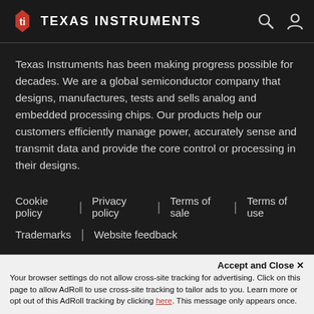Texas Instruments
Texas Instruments has been making progress possible for decades. We are a global semiconductor company that designs, manufactures, tests and sells analog and embedded processing chips. Our products help our customers efficiently manage power, accurately sense and transmit data and provide the core control or processing in their designs.
Cookie policy | Privacy policy | Terms of sale | Terms of use
Trademarks | Website feedback
© Copyright 1995-2021 Texas Instruments Incorporated. All rights reserved.
Accept and Close ×
Your browser settings do not allow cross-site tracking for advertising. Click on this page to allow AdRoll to use cross-site tracking to tailor ads to you. Learn more or opt out of this AdRoll tracking by clicking here. This message only appears once.